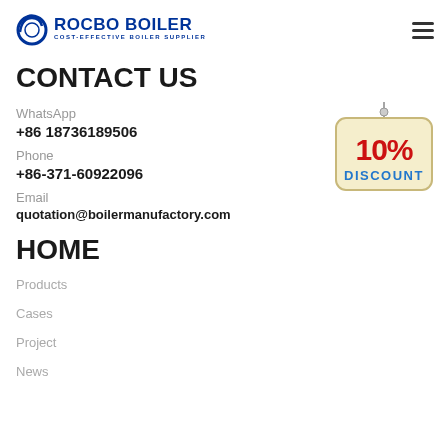ROCBO BOILER — COST-EFFECTIVE BOILER SUPPLIER
CONTACT US
WhatsApp
+86 18736189506
Phone
+86-371-60922096
Email
quotation@boilermanufactory.com
[Figure (illustration): 10% DISCOUNT hanging sign badge]
HOME
Products
Cases
Project
News